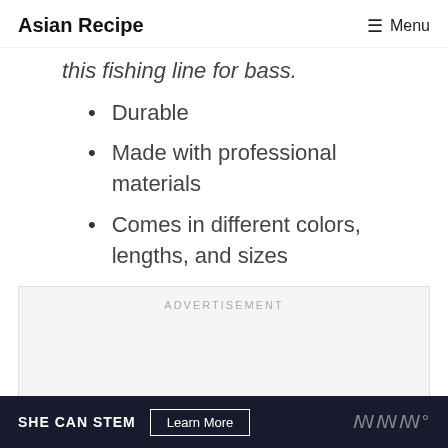Asian Recipe  ☰ Menu
this fishing line for bass.
Durable
Made with professional materials
Comes in different colors, lengths, and sizes
ADVERTISEMENT
SHE CAN STEM  Learn More